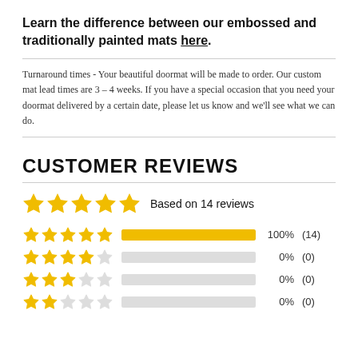Learn the difference between our embossed and traditionally painted mats here.
Turnaround times - Your beautiful doormat will be made to order. Our custom mat lead times are 3 – 4 weeks. If you have a special occasion that you need your doormat delivered by a certain date, please let us know and we'll see what we can do.
CUSTOMER REVIEWS
Based on 14 reviews
| Stars | Percentage | Count |
| --- | --- | --- |
| 5 stars | 100% | (14) |
| 4 stars | 0% | (0) |
| 3 stars | 0% | (0) |
| 2 stars | 0% | (0) |